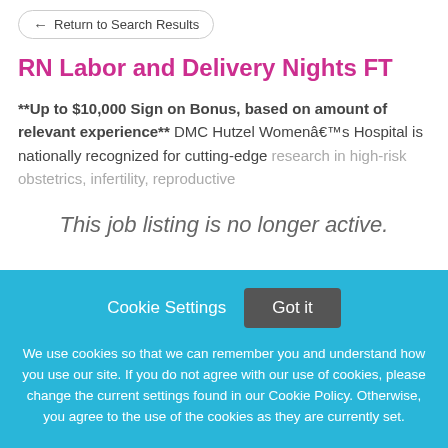Return to Search Results
RN Labor and Delivery Nights FT
**Up to $10,000 Sign on Bonus, based on amount of relevant experience** DMC Hutzel Women's Hospital is nationally recognized for cutting-edge research in high-risk obstetrics, infertility, reproductive
This job listing is no longer active.
Cookie Settings   Got it
We use cookies so that we can remember you and understand how you use our site. If you do not agree with our use of cookies, please change the current settings found in our Cookie Policy. Otherwise, you agree to the use of the cookies as they are currently set.